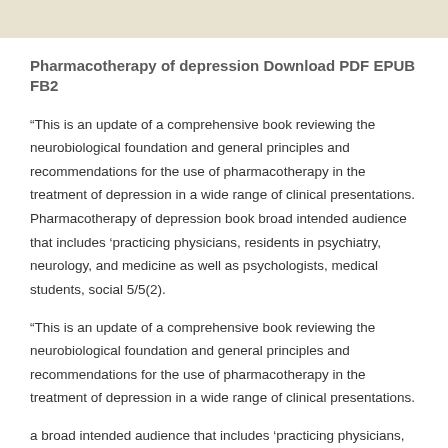Pharmacotherapy of depression Download PDF EPUB FB2
“This is an update of a comprehensive book reviewing the neurobiological foundation and general principles and recommendations for the use of pharmacotherapy in the treatment of depression in a wide range of clinical presentations. Pharmacotherapy of depression book broad intended audience that includes ‘practicing physicians, residents in psychiatry, neurology, and medicine as well as psychologists, medical students, social 5/5(2).
“This is an update of a comprehensive book reviewing the neurobiological foundation and general principles and recommendations for the use of pharmacotherapy in the treatment of depression in a wide range of clinical presentations.
a broad intended audience that includes ‘practicing physicians,